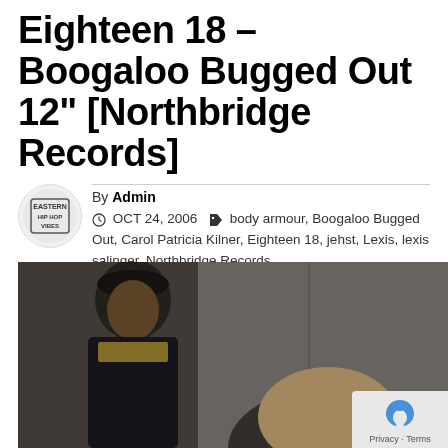Eighteen 18 – Boogaloo Bugged Out 12" [Northbridge Records]
By Admin
OCT 24, 2006  body armour, Boogaloo Bugged Out, Carol Patricia Kilner, Eighteen 18, jehst, Lexis, lexis salinger, Northbridge Records
[Figure (photo): Photo of two people, one wearing a dark beret hat and another partially visible in the foreground, indoors with a muted background]